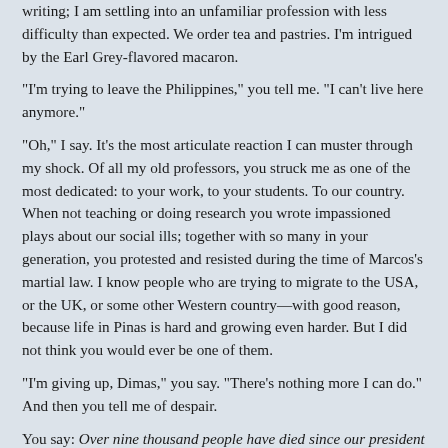writing; I am settling into an unfamiliar profession with less difficulty than expected. We order tea and pastries. I'm intrigued by the Earl Grey-flavored macaron.
“I’m trying to leave the Philippines,” you tell me. “I can’t live here anymore.”
“Oh,” I say. It’s the most articulate reaction I can muster through my shock. Of all my old professors, you struck me as one of the most dedicated: to your work, to your students. To our country. When not teaching or doing research you wrote impassioned plays about our social ills; together with so many in your generation, you protested and resisted during the time of Marcos’s martial law. I know people who are trying to migrate to the USA, or the UK, or some other Western country—with good reason, because life in Pinas is hard and growing even harder. But I did not think you would ever be one of them.
“I’m giving up, Dimas,” you say. “There’s nothing more I can do.” And then you tell me of despair.
You say: Over nine thousand people have died since our president took